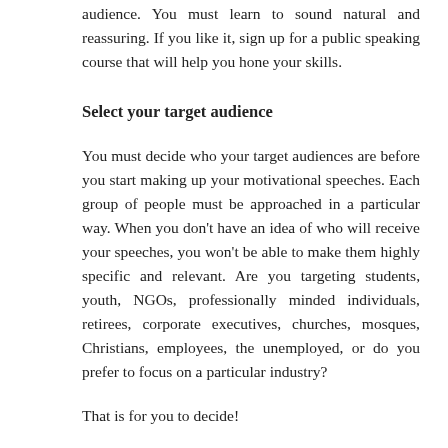audience. You must learn to sound natural and reassuring. If you like it, sign up for a public speaking course that will help you hone your skills.
Select your target audience
You must decide who your target audiences are before you start making up your motivational speeches. Each group of people must be approached in a particular way. When you don't have an idea of who will receive your speeches, you won't be able to make them highly specific and relevant. Are you targeting students, youth, NGOs, professionally minded individuals, retirees, corporate executives, churches, mosques, Christians, employees, the unemployed, or do you prefer to focus on a particular industry?
That is for you to decide!
Find a mentor
Motivational speakers are a specific group of speakers who influence the lives of others and as such have a huge responsibility. Therefore, to become a good motivational speaker, you need to be aware of what others are doing. Broad your network, establish friendly relationship with professionals